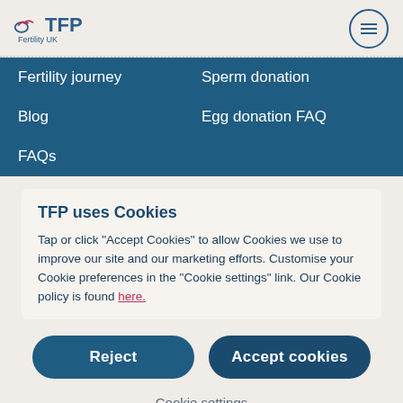TFP Fertility UK
Fertility journey
Sperm donation
Blog
Egg donation FAQ
FAQs
TFP uses Cookies
Tap or click "Accept Cookies" to allow Cookies we use to improve our site and our marketing efforts. Customise your Cookie preferences in the "Cookie settings" link. Our Cookie policy is found here.
Reject
Accept cookies
Cookie settings